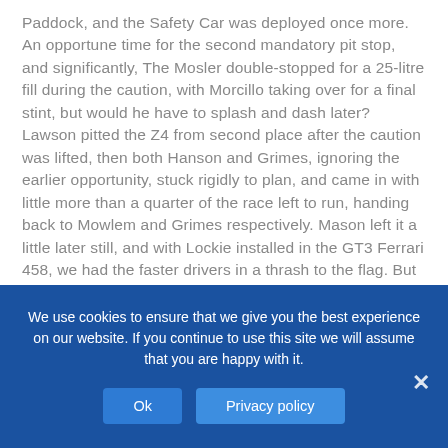Paddock, and the Safety Car was deployed once more. An opportune time for the second mandatory pit stop, and significantly, The Mosler double-stopped for a 25-litre fill during the caution, with Morcillo taking over for a final stint, but would he have to splash and dash later? Lawson pitted the Z4 from second place after the caution was lifted, then both Hanson and Grimes, ignoring the earlier opportunity, stuck rigidly to plan, and came in with little more than a quarter of the race left to run, handing back to Mowlem and Grimes respectively. Mason left it a little later still, and with Lockie installed in the GT3 Ferrari 458, we had the faster drivers in a thrash to the flag. But it was the battle at the front that drew the attention – a 17 second gap between Morcillo and Moore became 15, then 13, and Moore punched in a fastest lap to
We use cookies to ensure that we give you the best experience on our website. If you continue to use this site we will assume that you are happy with it.